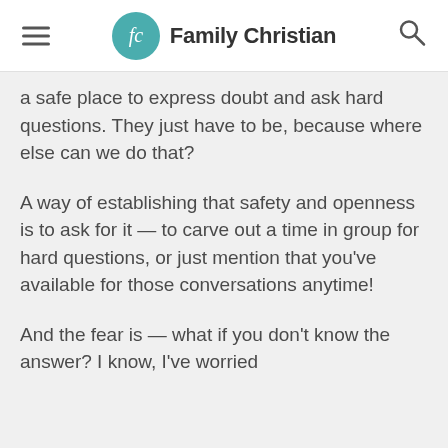Family Christian
a safe place to express doubt and ask hard questions. They just have to be, because where else can we do that?
A way of establishing that safety and openness is to ask for it — to carve out a time in group for hard questions, or just mention that you've available for those conversations anytime!
And the fear is — what if you don't know the answer? I know, I've worried